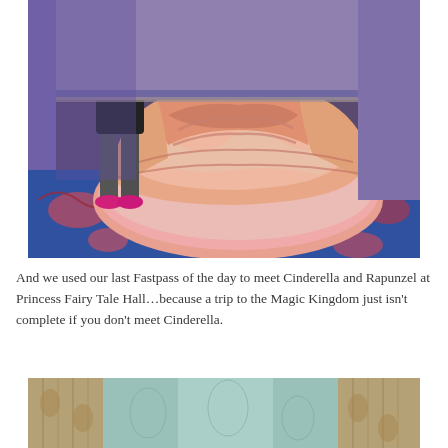[Figure (photo): Photo of a child standing next to a princess character in a large peach/pink ballgown at Princess Fairy Tale Hall, Magic Kingdom. The floor has a decorative blue and pink carpet. The princess gown fills most of the frame.]
And we used our last Fastpass of the day to meet Cinderella and Rapunzel at Princess Fairy Tale Hall…because a trip to the Magic Kingdom just isn't complete if you don't meet Cinderella.
[Figure (photo): Partial photo showing ornate curtains or drapes in a beige/gold pattern with teal/grey background, likely inside Princess Fairy Tale Hall.]